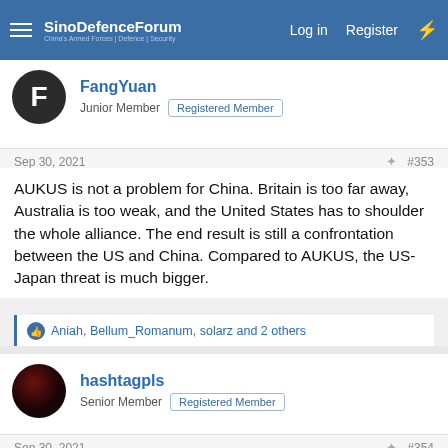SinoDefenceForum — Log in | Register
FangYuan
Junior Member — Registered Member
Sep 30, 2021  #353
AUKUS is not a problem for China. Britain is too far away, Australia is too weak, and the United States has to shoulder the whole alliance. The end result is still a confrontation between the US and China. Compared to AUKUS, the US-Japan threat is much bigger.
Aniah, Bellum_Romanum, solarz and 2 others
hashtagpls
Senior Member — Registered Member
Sep 30, 2021  #354